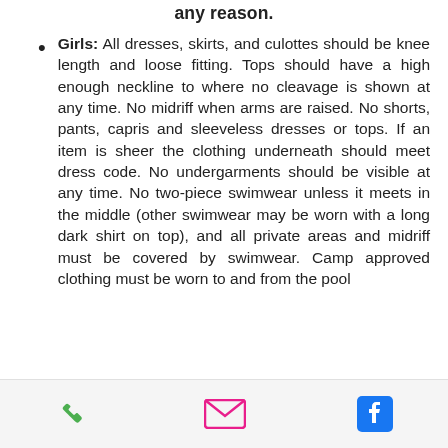any reason.
Girls: All dresses, skirts, and culottes should be knee length and loose fitting. Tops should have a high enough neckline to where no cleavage is shown at any time. No midriff when arms are raised. No shorts, pants, capris and sleeveless dresses or tops. If an item is sheer the clothing underneath should meet dress code. No undergarments should be visible at any time. No two-piece swimwear unless it meets in the middle (other swimwear may be worn with a long dark shirt on top), and all private areas and midriff must be covered by swimwear. Camp approved clothing must be worn to and from the pool
phone | email | facebook